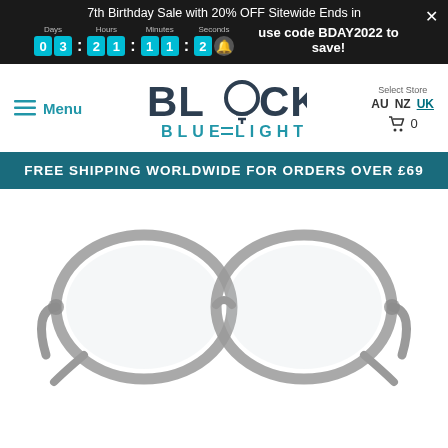7th Birthday Sale with 20% OFF Sitewide Ends in 03:21:11:2 use code BDAY2022 to save!
[Figure (logo): Block Blue Light logo with stylized lightbulb replacing the O in BLOCK]
Select Store AU NZ UK
Cart 0
Menu
FREE SHIPPING WORLDWIDE FOR ORDERS OVER £69
[Figure (photo): Transparent grey round eyeglasses frames, blue light blocking glasses, front view on white background]